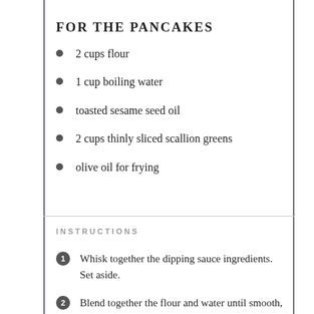FOR THE PANCAKES
2 cups flour
1 cup boiling water
toasted sesame seed oil
2 cups thinly sliced scallion greens
olive oil for frying
INSTRUCTIONS
Whisk together the dipping sauce ingredients. Set aside.
Blend together the flour and water until smooth, using either a food processor or the flat beater attachment with a KitchenAid mixer. Form into a ball and place in a greased bowl. Cover the bowl with a damp towel and let it sit for